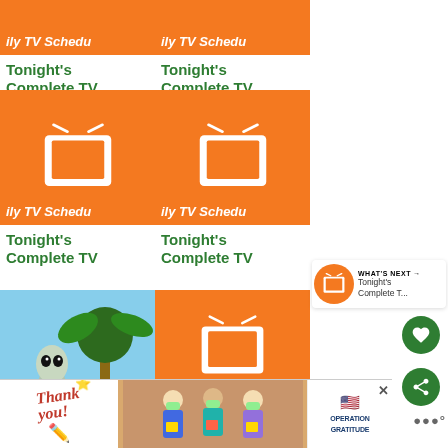[Figure (screenshot): Grid of TV schedule thumbnail cards showing orange backgrounds with white TV icons and text 'Tonight's Complete TV' in green, plus one alien movie image. Right side has heart/share buttons and a 'What's Next' widget. Bottom has an Operation Gratitude ad banner.]
Tonight's Complete TV
Tonight's Complete TV
Tonight's Complete TV
Tonight's Complete TV
Tonight's Complete TV
WHAT'S NEXT → Tonight's Complete T...
[Figure (photo): Operation Gratitude thank you advertisement banner with pencil illustration, healthcare workers, and flag]